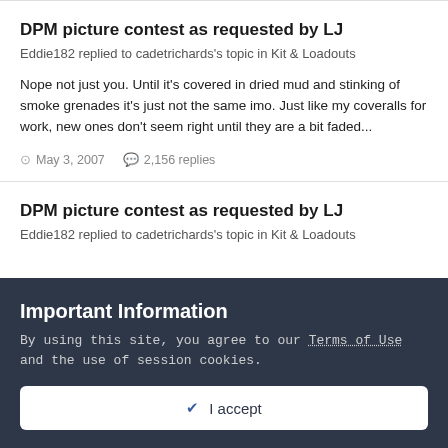DPM picture contest as requested by LJ
Eddie182 replied to cadetrichards's topic in Kit & Loadouts
Nope not just you. Until it's covered in dried mud and stinking of smoke grenades it's just not the same imo. Just like my coveralls for work, new ones don't seem right until they are a bit faded...
May 3, 2007   2,156 replies
DPM picture contest as requested by LJ
Eddie182 replied to cadetrichards's topic in Kit & Loadouts
Important Information
By using this site, you agree to our Terms of Use and the use of session cookies.
I accept